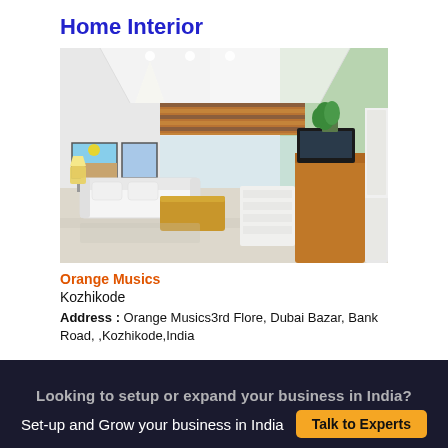Home Interior
[Figure (photo): 3D rendered home interior showing a modern living room with white sofa, wooden coffee table, bamboo blinds, wall art, green plant, wooden cabinet with TV, and a refrigerator on the right. Green accent wall visible.]
Orange Musics
Kozhikode
Address : Orange Musics3rd Flore, Dubai Bazar, Bank Road, ,Kozhikode,India
Looking to setup or expand your business in India?
Set-up and Grow your business in India
Talk to Experts